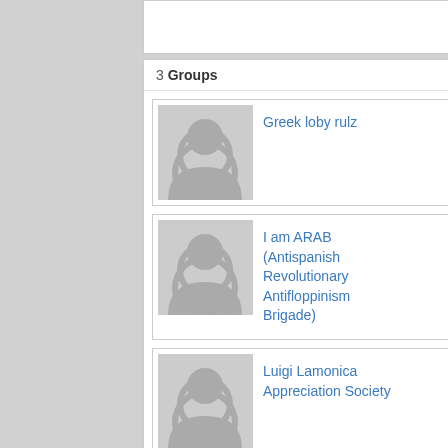3 Groups   Join Groups
Greek loby rulz
I am ARAB (Antispanish Revolutionary Antifloppinism Brigade)
Luigi Lamonica Appreciation Society
0 Permission Groups   Join Groups
Kleiza d... drunk a... 38% fro...
▶ see me...
1244 replies | 52450 view...
LuDux... thread... Lithua...
Kristupa... 07/08/2... highligh... Rimkus...
▶ see me...
3236 replies | 396192 vie...
LuDux... thread... Lithua...
SEE!? O... stud Ma...
▶ see me...